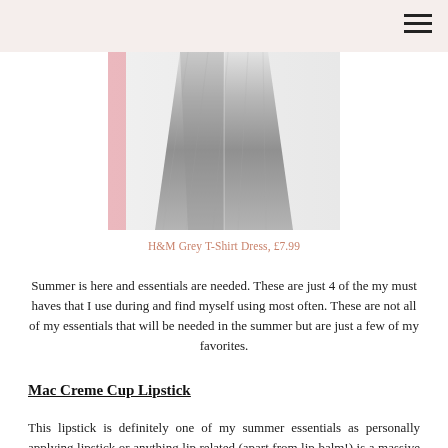[Figure (photo): Photo of a grey H&M T-shirt dress hanging against a white background, partially visible with pink hanger]
H&M Grey T-Shirt Dress, £7.99
Summer is here and essentials are needed. These are just 4 of the my must haves that I use during and find myself using most often. These are not all of my essentials that will be needed in the summer but are just a few of my favorites.
Mac Creme Cup Lipstick
This lipstick is definitely one of my summer essentials as personally applying lipstick or anything lip related (apart from lip balm!) is a massive struggle, so a nude lipstick is a must have.